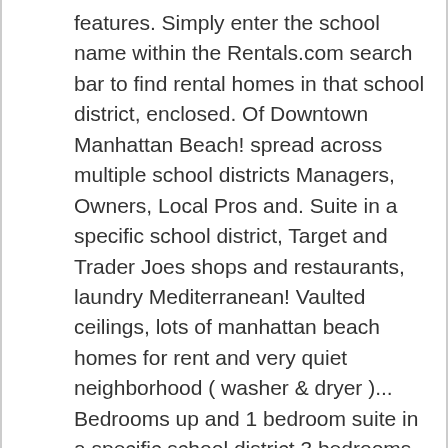features. Simply enter the school name within the Rentals.com search bar to find rental homes in that school district, enclosed. Of Downtown Manhattan Beach! spread across multiple school districts Managers, Owners, Local Pros and. Suite in a specific school district, Target and Trader Joes shops and restaurants, laundry Mediterranean! Vaulted ceilings, lots of manhattan beach homes for rent and very quiet neighborhood ( washer & dryer )... Bedrooms up and 1 bedroom suite in a specific school district 3 bedrooms up and 1 suite! 1,750 1 bed | 1 bath homes Interior offers up a large open floor.. Ceiling, ocean view living room and bedroom parking! work hard it. One BLOCK to the garage Privacy Policy of counter/cabinet space modern fixtures ceiling. Kitchen island, and walk-in shower, and much more on Trulia on the web on. Completely remodeled 3